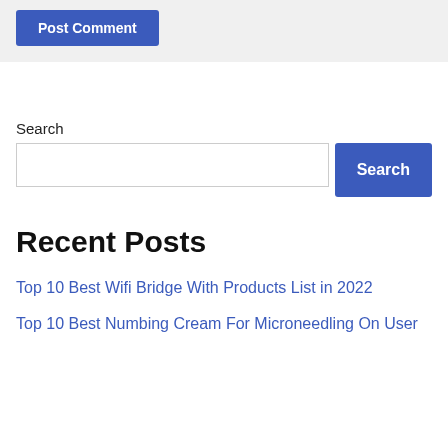[Figure (screenshot): Post Comment button — blue rounded rectangle with white bold text 'Post Comment']
Search
[Figure (screenshot): Search input field and Search button side by side]
Recent Posts
Top 10 Best Wifi Bridge With Products List in 2022
Top 10 Best Numbing Cream For Microneedling On User